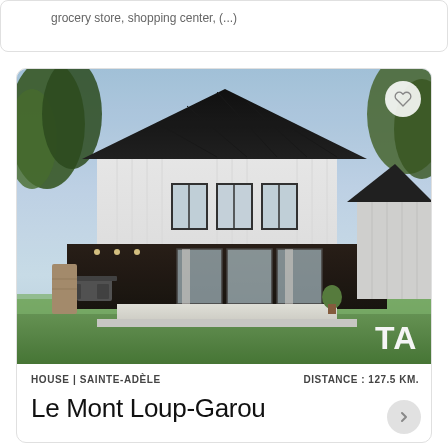grocery store, shopping center, (...)
[Figure (photo): Modern two-story house with black metal roof, white vertical siding, large windows, dark base level with sliding glass doors, deck, lush green lawn, trees in background. 'TA' logo badge visible in bottom right corner. Heart/favorite button in top right corner.]
HOUSE | SAINTE-ADÈLE   DISTANCE: 127.5 KM.
Le Mont Loup-Garou